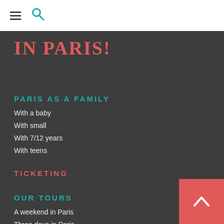☰ 🔍
IN PARIS!
PARIS AS A FAMILY
With a baby
With small
With 7/12 years
With teens
TICKETING
OUR TOURS
A weekend in Paris
Three days in Paris
Five days and more in Paris
FUN ACTIVITIES AND OUTINGS